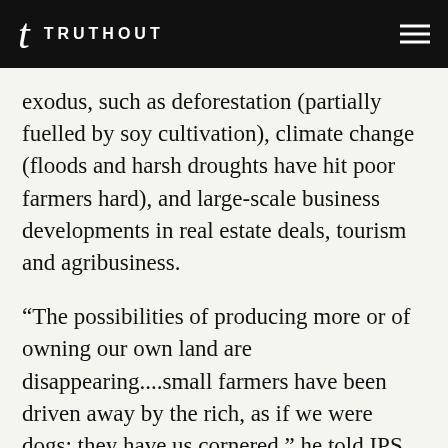TRUTHOUT
exodus, such as deforestation (partially fuelled by soy cultivation), climate change (floods and harsh droughts have hit poor farmers hard), and large-scale business developments in real estate deals, tourism and agribusiness.
“The possibilities of producing more or of owning our own land are disappearing....small farmers have been driven away by the rich, as if we were dogs; they have us cornered,” he told IPS.